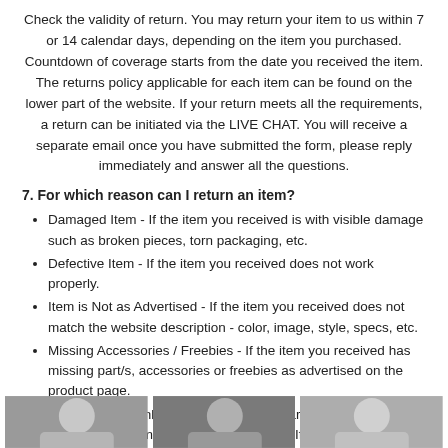Check the validity of return. You may return your item to us within 7 or 14 calendar days, depending on the item you purchased. Countdown of coverage starts from the date you received the item. The returns policy applicable for each item can be found on the lower part of the website. If your return meets all the requirements, a return can be initiated via the LIVE CHAT. You will receive a separate email once you have submitted the form, please reply immediately and answer all the questions.
7. For which reason can I return an item?
Damaged Item - If the item you received is with visible damage such as broken pieces, torn packaging, etc.
Defective Item - If the item you received does not work properly.
Item is Not as Advertised - If the item you received does not match the website description - color, image, style, specs, etc.
Missing Accessories / Freebies - If the item you received has missing part/s, accessories or freebies as advertised on the product page.
Wrong Size - Only applicable for footwear and apparel. Not applicable to items shipped from abroad. If the size of the item you received is not the same as what you ordered.
[Figure (photo): Three partial thumbnail photos of people/products at the bottom of the page]